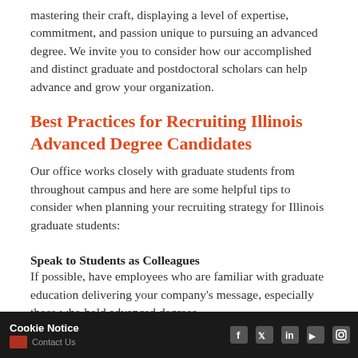mastering their craft, displaying a level of expertise, commitment, and passion unique to pursuing an advanced degree. We invite you to consider how our accomplished and distinct graduate and postdoctoral scholars can help advance and grow your organization.
Best Practices for Recruiting Illinois Advanced Degree Candidates
Our office works closely with graduate students from throughout campus and here are some helpful tips to consider when planning your recruiting strategy for Illinois graduate students:
Speak to Students as Colleagues
If possible, have employees who are familiar with graduate education delivering your company's message, especially those who hold advanced degrees.
Know your Data
When delivering your message, be ready for incisive questions from strong critical thinkers and have the evidence
Cookie Notice  Contact Us  [social icons: f, twitter, in, youtube, instagram]